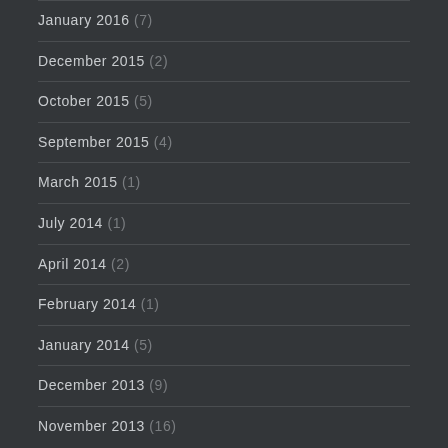January 2016 (7)
December 2015 (2)
October 2015 (5)
September 2015 (4)
March 2015 (1)
July 2014 (1)
April 2014 (2)
February 2014 (1)
January 2014 (5)
December 2013 (9)
November 2013 (16)